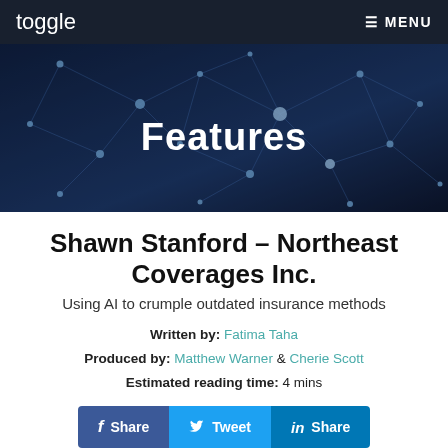toggle   ≡ MENU
[Figure (illustration): Dark blue tech/network background banner with glowing node-and-edge graph overlay]
Features
Shawn Stanford – Northeast Coverages Inc.
Using AI to crumple outdated insurance methods
Written by: Fatima Taha
Produced by: Matthew Warner & Cherie Scott
Estimated reading time: 4 mins
[Figure (infographic): Social share buttons: Facebook Share, Twitter Tweet, LinkedIn Share]